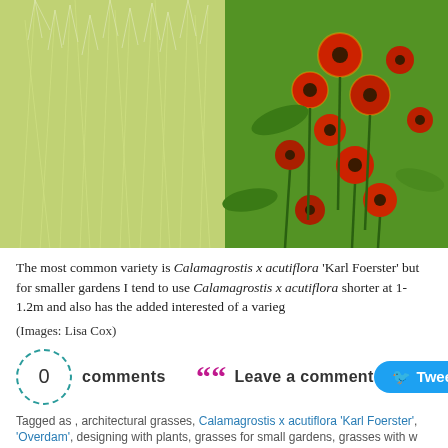[Figure (photo): Garden photo showing tall feathery grass (Calamagrostis) on the left and bright red Helenium flowers on the right, set against a lush green summer garden background.]
The most common variety is Calamagrostis x acutiflora 'Karl Foerster' but for smaller gardens I tend to use Calamagrostis x acutiflora shorter at 1-1.2m and also has the added interested of a varieg
(Images: Lisa Cox)
0 comments   Leave a comment   Tweet
Tagged as , architectural grasses, Calamagrostis x acutiflora 'Karl Foerster', 'Overdam', designing with plants, grasses for small gardens, grasses with w